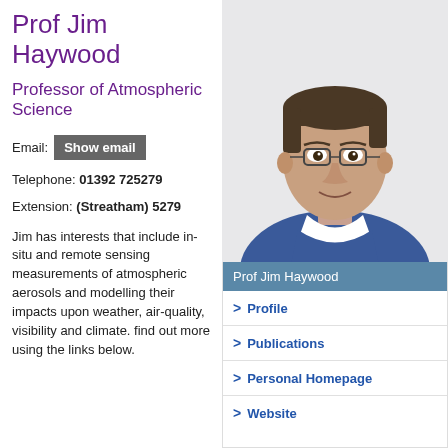Prof Jim Haywood
Professor of Atmospheric Science
Email: Show email
Telephone: 01392 725279
Extension: (Streatham) 5279
Jim has interests that include in-situ and remote sensing measurements of atmospheric aerosols and modelling their impacts upon weather, air-quality, visibility and climate. Find out more using the links below.
[Figure (photo): Portrait photo of Prof Jim Haywood, a man wearing glasses and a blue sweater, with caption bar 'Prof Jim Haywood']
> Profile
> Publications
> Personal Homepage
> Website